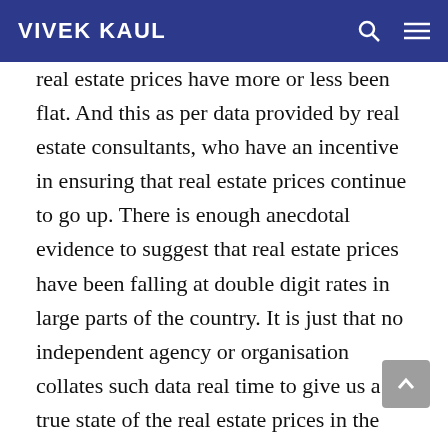VIVEK KAUL
real estate prices have more or less been flat. And this as per data provided by real estate consultants, who have an incentive in ensuring that real estate prices continue to go up. There is enough anecdotal evidence to suggest that real estate prices have been falling at double digit rates in large parts of the country. It is just that no independent agency or organisation collates such data real time to give us a true state of the real estate prices in the country.
Also, from data that is available it can clearly be seen that real estate builders are sitting on a large number of unsold homes. The developers…